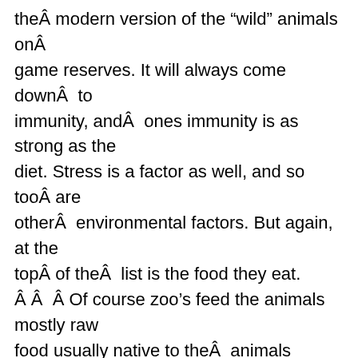theÂ modern version of the “wild” animals onÂ game reserves. It will always come downÂ  to immunity, andÂ  ones immunity is as strong as the diet. Stress is a factor as well, and so tooÂ are otherÂ  environmental factors. But again, at the topÂ of theÂ  list is the food they eat. Â Â  Â Of course zoo’s feed the animals mostly raw food usually native to theÂ  animals region of origin – but the food itself comes from “down the block” in most cases. And that food is laden with pescticidal elements and genetically modified products. Also the airÂ  in most zoos in major cities are filled with carcinogens that come with smog. The water alsoÂ  comes from the taps, which come fromÂ  rivers that are nothing Â like those in wilder, moreÂ  remote parts of the globe.